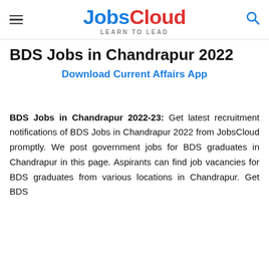JobsCloud LEARN TO LEAD
BDS Jobs in Chandrapur 2022
Download Current Affairs App
BDS Jobs in Chandrapur 2022-23: Get latest recruitment notifications of BDS Jobs in Chandrapur 2022 from JobsCloud promptly. We post government jobs for BDS graduates in Chandrapur in this page. Aspirants can find job vacancies for BDS graduates from various locations in Chandrapur. Get BDS